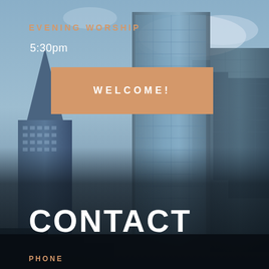[Figure (photo): City skyline with tall glass skyscrapers against a blue cloudy sky, darkened in the lower portion with a dark overlay]
EVENING WORSHIP
5:30pm
WELCOME!
CONTACT
PHONE